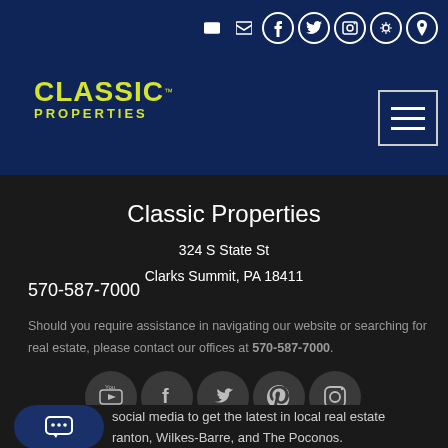Classic Properties header with logo and navigation
Classic Properties
324 S State St
Clarks Summit, PA 18411
570-587-7000
Should you require assistance in navigating our website or searching for real estate, please contact our offices at 570-587-7000.
[Figure (other): Row of social media icons: YouTube, Facebook, Twitter, Pinterest, Instagram]
social media to get the latest in local real estate ranton, Wilkes-Barre, and The Poconos.